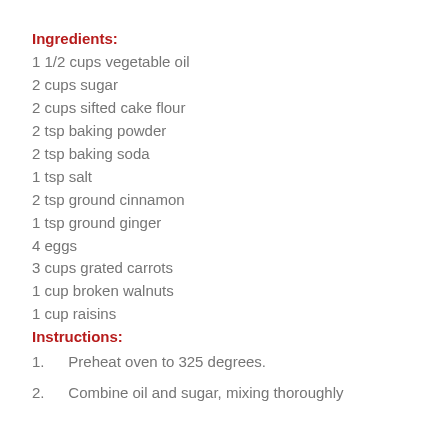Ingredients:
1 1/2 cups vegetable oil
2 cups sugar
2 cups sifted cake flour
2 tsp baking powder
2 tsp baking soda
1 tsp salt
2 tsp ground cinnamon
1 tsp ground ginger
4 eggs
3 cups grated carrots
1 cup broken walnuts
1 cup raisins
Instructions:
1.  Preheat oven to 325 degrees.
2.  Combine oil and sugar, mixing thoroughly